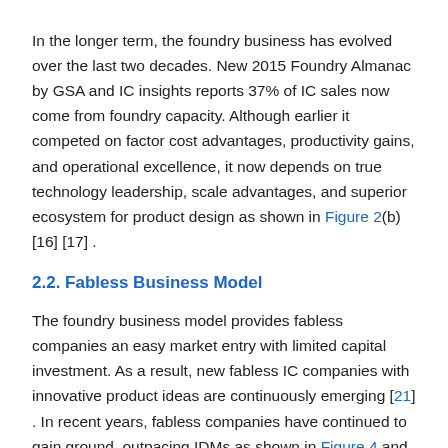In the longer term, the foundry business has evolved over the last two decades. New 2015 Foundry Almanac by GSA and IC insights reports 37% of IC sales now come from foundry capacity. Although earlier it competed on factor cost advantages, productivity gains, and operational excellence, it now depends on true technology leadership, scale advantages, and superior ecosystem for product design as shown in Figure 2(b) [16] [17] .
2.2. Fabless Business Model
The foundry business model provides fabless companies an easy market entry with limited capital investment. As a result, new fabless IC companies with innovative product ideas are continuously emerging [21] . In recent years, fabless companies have continued to gain ground, outpacing IDMs as shown in Figure 4 and claiming more than 25% of the global market share as shown